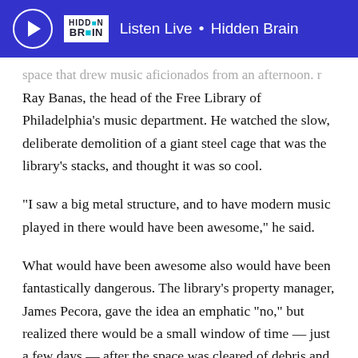Listen Live • Hidden Brain
space that drew music aficionados from an afternoon. Ray Banas, the head of the Free Library of Philadelphia's music department. He watched the slow, deliberate demolition of a giant steel cage that was the library's stacks, and thought it was so cool.
“I saw a big metal structure, and to have modern music played in there would have been awesome,” he said.
What would have been awesome also would have been fantastically dangerous. The library’s property manager, James Pecora, gave the idea an emphatic “no,” but realized there would be a small window of time — just a few days — after the space was cleared of debris and before the construction began on the new floors. About a year from